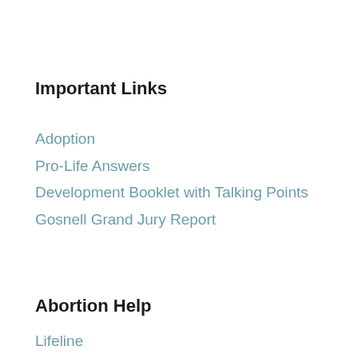Important Links
Adoption
Pro-Life Answers
Development Booklet with Talking Points
Gosnell Grand Jury Report
Abortion Help
Lifeline